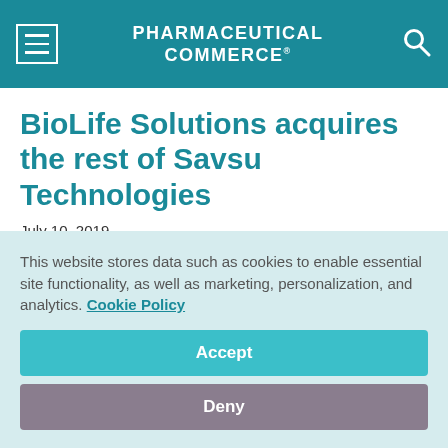PHARMACEUTICAL COMMERCE
BioLife Solutions acquires the rest of Savsu Technologies
July 10, 2019
[Figure (infographic): Row of five social media share icons: Facebook (dark blue), Twitter (light blue), LinkedIn (blue), Pinterest (red), Email (gray)]
This website stores data such as cookies to enable essential site functionality, as well as marketing, personalization, and analytics. Cookie Policy
Accept
Deny